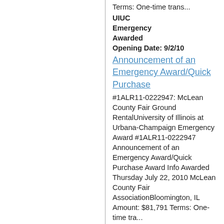Terms: One-time trans...
UIUC
Emergency
Awarded
Opening Date: 9/2/10
Announcement of an Emergency Award/Quick Purchase
#1ALR11-0222947: McLean County Fair Ground RentalUniversity of Illinois at Urbana-Champaign Emergency Award #1ALR11-0222947 Announcement of an Emergency Award/Quick Purchase Award Info Awarded Thursday July 22, 2010 McLean County Fair AssociationBloomington, IL Amount: $81,791 Terms: One-time tra...
UIUC
Emergency
Awarded
Opening Date: 7/25/10
Announcement of an Emergency Award/Quick Purchase